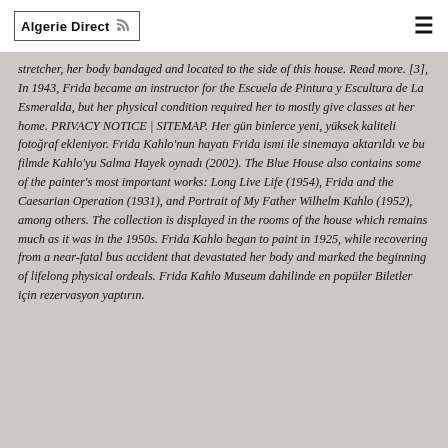Algerie Direct
stretcher, her body bandaged and located to the side of this house. Read more. [3], In 1943, Frida became an instructor for the Escuela de Pintura y Escultura de La Esmeralda, but her physical condition required her to mostly give classes at her home. PRIVACY NOTICE | SITEMAP. Her gün binlerce yeni, yüksek kaliteli fotoğraf ekleniyor. Frida Kahlo'nun hayatı Frida ismi ile sinemaya aktarıldı ve bu filmde Kahlo'yu Salma Hayek oynadı (2002). The Blue House also contains some of the painter's most important works: Long Live Life (1954), Frida and the Caesarian Operation (1931), and Portrait of My Father Wilhelm Kahlo (1952), among others. The collection is displayed in the rooms of the house which remains much as it was in the 1950s. Frida Kahlo began to paint in 1925, while recovering from a near-fatal bus accident that devastated her body and marked the beginning of lifelong physical ordeals. Frida Kahlo Museum dahilinde en popüler Biletler için rezervasyon yaptırın.